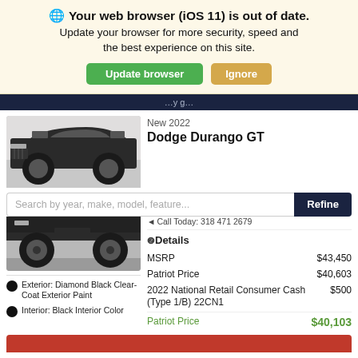🌐 Your web browser (iOS 11) is out of date. Update your browser for more security, speed and the best experience on this site.
Update browser    Ignore
...y g...
New 2022
Dodge Durango GT
Search by year, make, model, feature...    Refine
◄ Call Today: 318 471 2679
❷Details
| Item | Price |
| --- | --- |
| MSRP | $43,450 |
| Patriot Price | $40,603 |
| 2022 National Retail Consumer Cash (Type 1/B) 22CN1 | $500 |
| Patriot Price | $40,103 |
Exterior: Diamond Black Clear-Coat Exterior Paint
Interior: Black Interior Color
[Figure (photo): Photo of a dark-colored Dodge Durango SUV, front/side view, showing the front hood, windshield, and roof area against a light background. Bottom portion shows front bumper and wheels.]